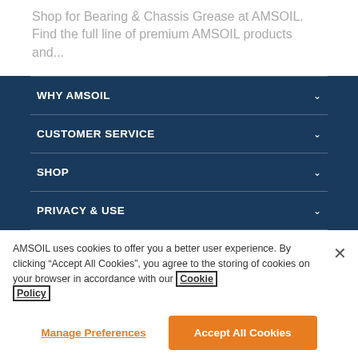Shop for Bearing & Chassis Grease at AMSOIL. Find the full line of premium AMSOIL products and...
WHY AMSOIL
CUSTOMER SERVICE
SHOP
PRIVACY & USE
AMSOIL uses cookies to offer you a better user experience. By clicking “Accept All Cookies”, you agree to the storing of cookies on your browser in accordance with our Cookie Policy
Manage Preferences
Accept All Cookies